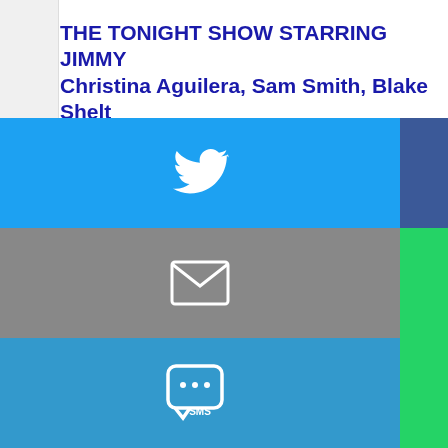THE TONIGHT SHOW STARRING JIMMY FALLON: Christina Aguilera, Sam Smith, Blake Shelton & More Perform 'We Are the Champions'
February 2, 2015 by Marisa Roffman
Filed under The Tonight Show Starring Jimmy Fallon
THE TONIGHT SHOW STARRING JIMMY FALLON had a live post-Super Bowl game, Jimmy Fallon and The Roots were joined by Carrie Underwood, Sam S... Shelton, Usher, Meghan Trainor, One Direction, and Christina Aguilera in an in... esque) an a acappella version of Queen's "We Are the Champions."
Miss the show? Watch the video now…
[youtube]https://www.youtube.com/watch?v=KHHgPTQDllo[/youtube]
[Figure (screenshot): Social media share buttons overlay: Twitter (blue), Facebook (dark blue), Email (grey), WhatsApp (green), SMS (blue), More (green) arranged in a 2x3 grid]